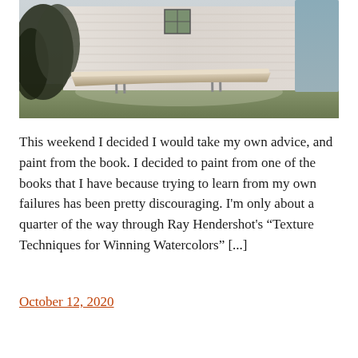[Figure (illustration): Watercolor painting of a white clapboard house with a window, dark trees on the left, a blue cylindrical element on the right, a boat or canoe resting on saw-horses in front of the house, and a grassy ground area.]
This weekend I decided I would take my own advice, and paint from the book. I decided to paint from one of the books that I have because trying to learn from my own failures has been pretty discouraging. I'm only about a quarter of the way through Ray Hendershot's “Texture Techniques for Winning Watercolors” [...]
October 12, 2020